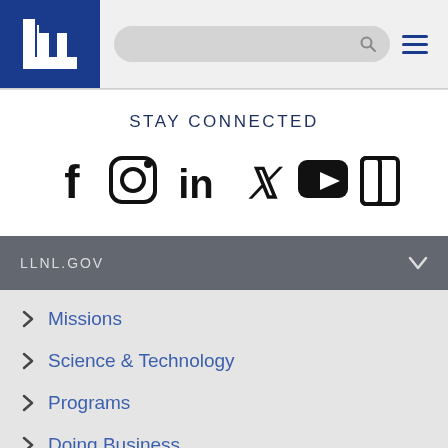[Figure (logo): Lawrence Livermore National Laboratory logo — white 'L' lettermark on dark blue background in header]
STAY CONNECTED
[Figure (infographic): Social media icons row: Facebook, Instagram, LinkedIn, Twitter, YouTube, and one additional icon]
LLNL.GOV
Missions
Science & Technology
Programs
Doing Business
News